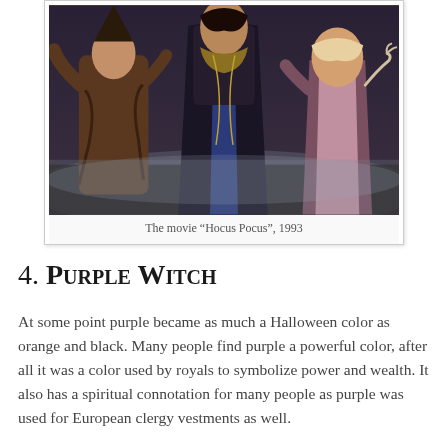[Figure (photo): A photograph showing three witches from the movie Hocus Pocus (1993), dressed in period witch costumes, standing together.]
The movie “Hocus Pocus”, 1993
4. Purple Witch
At some point purple became as much a Halloween color as orange and black. Many people find purple a powerful color, after all it was a color used by royals to symbolize power and wealth. It also has a spiritual connotation for many people as purple was used for European clergy vestments as well.